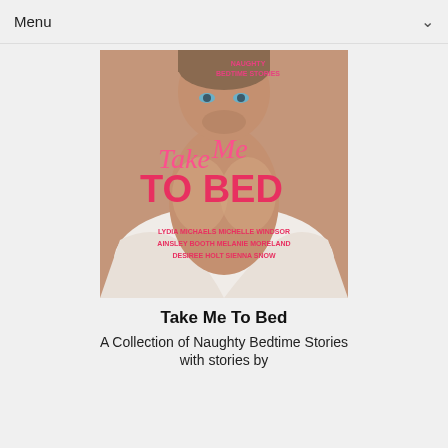Menu
[Figure (illustration): Book cover for 'Take Me To Bed - A Collection of Naughty Bedtime Stories'. Shows a shirtless man with the title in pink cursive and bold text. Authors listed: Lydia Michaels, Michelle Windsor, Ainsley Booth, Melanie Moreland, Desiree Holt, Sienna Snow.]
Take Me To Bed
A Collection of Naughty Bedtime Stories
with stories by